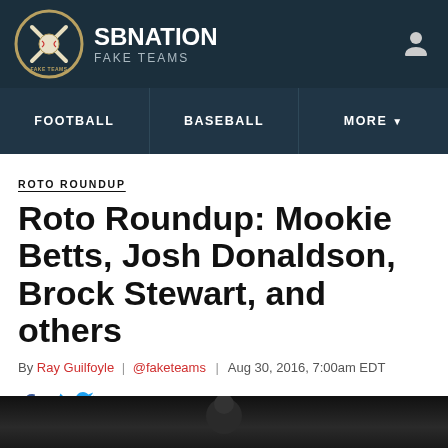SB NATION | FAKE TEAMS
FOOTBALL | BASEBALL | MORE
ROTO ROUNDUP
Roto Roundup: Mookie Betts, Josh Donaldson, Brock Stewart, and others
By Ray Guilfoyle | @faketeams | Aug 30, 2016, 7:00am EDT
SHARE
[Figure (photo): Dark photo of baseball player at bottom of page]